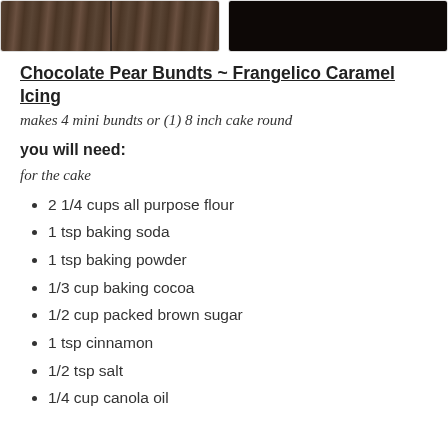[Figure (photo): Two photos side by side, left showing a dark wood-textured cake surface with a line/cut, right showing a very dark/black image likely a chocolate cake]
Chocolate Pear Bundts ~ Frangelico Caramel Icing
makes 4 mini bundts or (1) 8 inch cake round
you will need:
for the cake
2 1/4 cups all purpose flour
1 tsp baking soda
1 tsp baking powder
1/3 cup baking cocoa
1/2 cup packed brown sugar
1 tsp cinnamon
1/2 tsp salt
1/4 cup canola oil